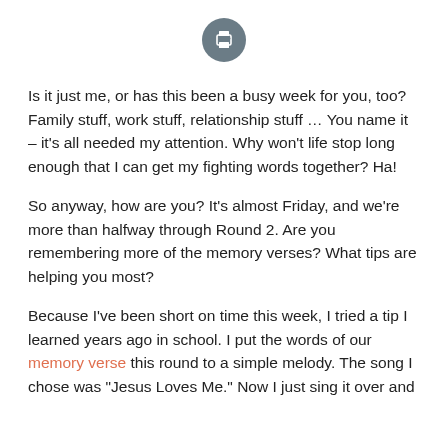[Figure (other): Print button icon — grey circle with white printer icon]
Is it just me, or has this been a busy week for you, too? Family stuff, work stuff, relationship stuff … You name it – it's all needed my attention. Why won't life stop long enough that I can get my fighting words together? Ha!
So anyway, how are you? It's almost Friday, and we're more than halfway through Round 2. Are you remembering more of the memory verses? What tips are helping you most?
Because I've been short on time this week, I tried a tip I learned years ago in school. I put the words of our memory verse this round to a simple melody. The song I chose was "Jesus Loves Me." Now I just sing it over and